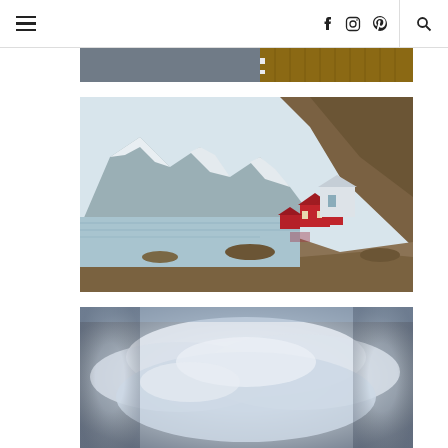Navigation bar with hamburger menu, social icons (Facebook, Instagram, Pinterest), and search
[Figure (photo): Partial view of a boat deck with orange life preservers and wooden railing, partially cropped at top]
[Figure (photo): Scenic Norwegian fjord landscape (Lofoten Islands) with snow-capped mountains, a calm blue-grey bay, rocky shoreline, and traditional red wooden fishing cabins (rorbuer) on the right side]
[Figure (photo): Overcast sky with soft blue-grey clouds, partially cropped at bottom, round bokeh-style blur effect at corners]